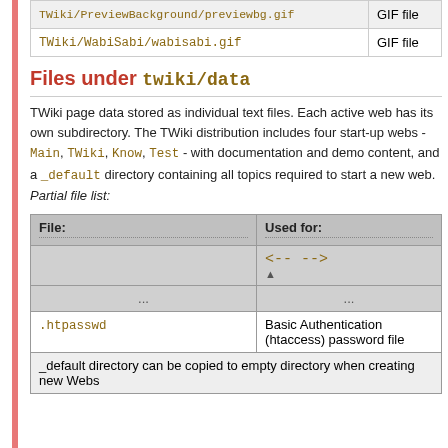| (file path) | (type) |
| --- | --- |
| TWiki/PreviewBackground/previewbg.gif | GIF file |
| TWiki/WabiSabi/wabisabi.gif | GIF file |
Files under twiki/data
TWiki page data stored as individual text files. Each active web has its own subdirectory. The TWiki distribution includes four start-up webs - Main, TWiki, Know, Test - with documentation and demo content, and a _default directory containing all topics required to start a new web. Partial file list:
| File: | Used for: |
| --- | --- |
|  | <-- --> ▲ |
| ... | ... |
| .htpasswd | Basic Authentication (htaccess) password file |
| _default directory can be copied to empty directory when creating new Webs |  |